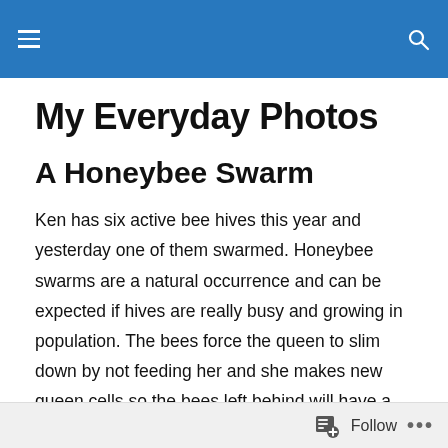My Everyday Photos — site header navigation bar
My Everyday Photos
A Honeybee Swarm
Ken has six active bee hives this year and yesterday one of them swarmed. Honeybee swarms are a natural occurrence and can be expected if hives are really busy and growing in population. The bees force the queen to slim down by not feeding her and she makes new queen cells so the bees left behind will have a new leader once the old one has swarmed. One of his hives from last year
Follow •••